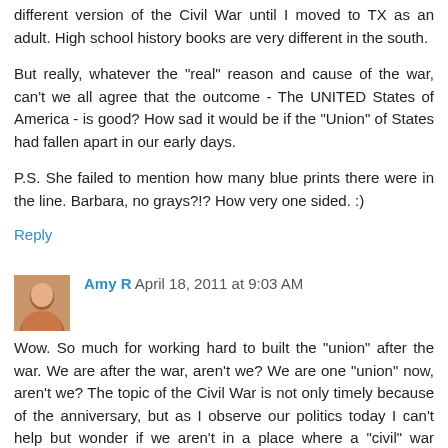different version of the Civil War until I moved to TX as an adult. High school history books are very different in the south.
But really, whatever the "real" reason and cause of the war, can't we all agree that the outcome - The UNITED States of America - is good? How sad it would be if the "Union" of States had fallen apart in our early days.
P.S. She failed to mention how many blue prints there were in the line. Barbara, no grays?!? How very one sided. :)
Reply
Amy R  April 18, 2011 at 9:03 AM
Wow. So much for working hard to built the "union" after the war. We are after the war, aren't we? We are one "union" now, aren't we? The topic of the Civil War is not only timely because of the anniversary, but as I observe our politics today I can't help but wonder if we aren't in a place where a "civil" war couldn't happen again. Haven't we learned we can accomplish so much more working together vs. tearing